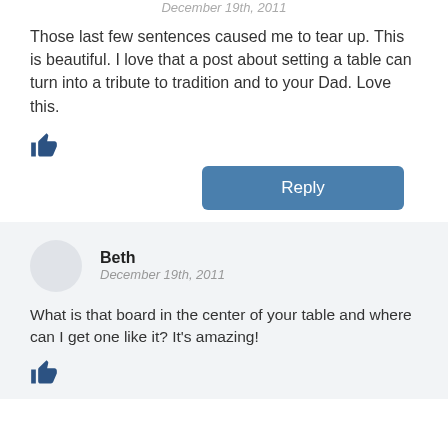December 19th, 2011
Those last few sentences caused me to tear up. This is beautiful. I love that a post about setting a table can turn into a tribute to tradition and to your Dad. Love this.
[Figure (other): Thumbs up icon]
Reply
Beth
December 19th, 2011
What is that board in the center of your table and where can I get one like it? It's amazing!
[Figure (other): Thumbs up icon]